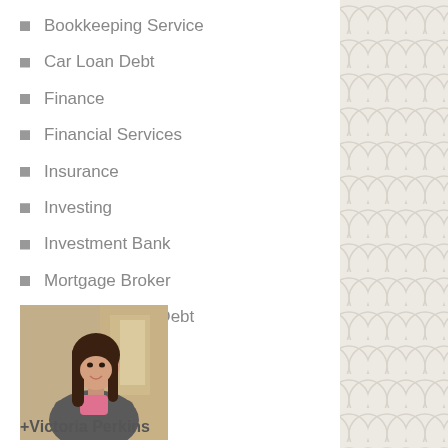Bookkeeping Service
Car Loan Debt
Finance
Financial Services
Insurance
Investing
Investment Bank
Mortgage Broker
Personal Loan Debt
Sale of Debts
[Figure (photo): Professional woman in grey blazer and pink shirt, arms crossed, smiling, office background]
+Victoria Perkins